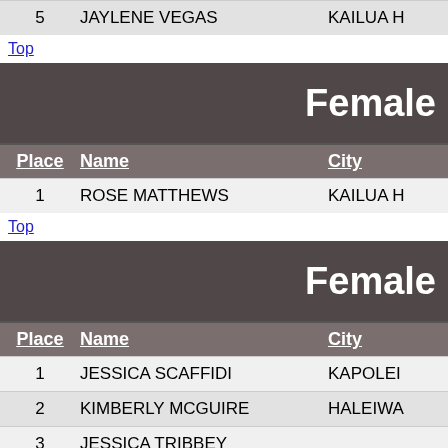| Place | Name | City |
| --- | --- | --- |
| 5 | JAYLENE VEGAS | KAILUA H |
Top
Female
| Place | Name | City |
| --- | --- | --- |
| 1 | ROSE MATTHEWS | KAILUA H |
Top
Female
| Place | Name | City |
| --- | --- | --- |
| 1 | JESSICA SCAFFIDI | KAPOLEI |
| 2 | KIMBERLY MCGUIRE | HALEIWA |
| 3 | JESSICA TRIBBEY |  |
| 4 | CASSANDRA QUEJA |  |
| 5 | MARY BERGER | HONOLULU |
| 6 | ALYSA IHA | KAILUA H |